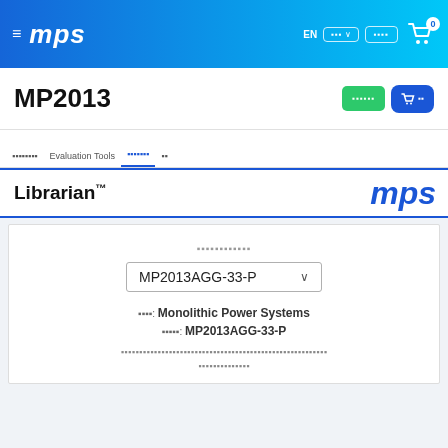MPS — EN | navigation bar with cart (0)
MP2013
Librarian™
選択してください
MP2013AGG-33-P ▾
メーカー: Monolithic Power Systems
型番: MP2013AGG-33-P
（redacted/unreadable Japanese description text）